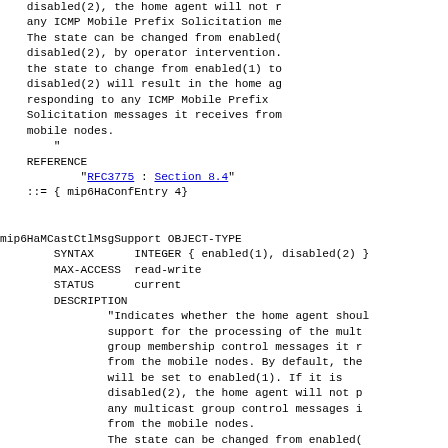disabled(2), the home agent will not respond to any ICMP Mobile Prefix Solicitation messages. The state can be changed from enabled(1) to disabled(2), by operator intervention. Setting the state to change from enabled(1) to disabled(2) will result in the home agent not responding to any ICMP Mobile Prefix Solicitation messages it receives from mobile nodes.
"
REFERENCE
    "RFC3775 : Section 8.4"
::= { mip6HaConfEntry 4}

mip6HaMCastCtlMsgSupport OBJECT-TYPE
    SYNTAX      INTEGER { enabled(1), disabled(2) }
    MAX-ACCESS  read-write
    STATUS      current
    DESCRIPTION
        "Indicates whether the home agent should support for the processing of the multicast group membership control messages it receives from the mobile nodes. By default, the value will be set to enabled(1). If it is set to disabled(2), the home agent will not process any multicast group control messages it receives from the mobile nodes.
        The state can be changed from enabled(1) to disabled(2), by operator intervention. Setting the state to change from enabled(1) to